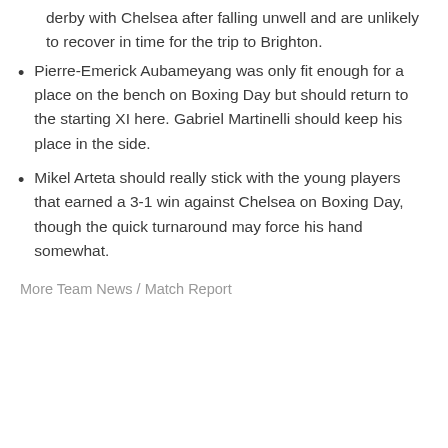derby with Chelsea after falling unwell and are unlikely to recover in time for the trip to Brighton.
Pierre-Emerick Aubameyang was only fit enough for a place on the bench on Boxing Day but should return to the starting XI here. Gabriel Martinelli should keep his place in the side.
Mikel Arteta should really stick with the young players that earned a 3-1 win against Chelsea on Boxing Day, though the quick turnaround may force his hand somewhat.
More Team News / Match Report